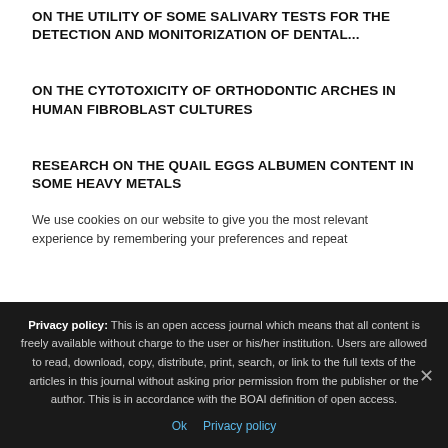ON THE UTILITY OF SOME SALIVARY TESTS FOR THE DETECTION AND MONITORIZATION OF DENTAL...
ON THE CYTOTOXICITY OF ORTHODONTIC ARCHES IN HUMAN FIBROBLAST CULTURES
RESEARCH ON THE QUAIL EGGS ALBUMEN CONTENT IN SOME HEAVY METALS
We use cookies on our website to give you the most relevant experience by remembering your preferences and repeat
Privacy policy: This is an open access journal which means that all content is freely available without charge to the user or his/her institution. Users are allowed to read, download, copy, distribute, print, search, or link to the full texts of the articles in this journal without asking prior permission from the publisher or the author. This is in accordance with the BOAI definition of open access.
Ok   Privacy policy